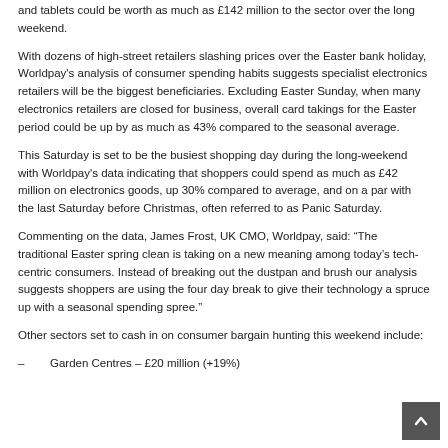and tablets could be worth as much as £142 million to the sector over the long weekend.
With dozens of high-street retailers slashing prices over the Easter bank holiday, Worldpay's analysis of consumer spending habits suggests specialist electronics retailers will be the biggest beneficiaries. Excluding Easter Sunday, when many electronics retailers are closed for business, overall card takings for the Easter period could be up by as much as 43% compared to the seasonal average.
This Saturday is set to be the busiest shopping day during the long-weekend with Worldpay's data indicating that shoppers could spend as much as £42 million on electronics goods, up 30% compared to average, and on a par with the last Saturday before Christmas, often referred to as Panic Saturday.
Commenting on the data, James Frost, UK CMO, Worldpay, said: “The traditional Easter spring clean is taking on a new meaning among today’s tech-centric consumers. Instead of breaking out the dustpan and brush our analysis suggests shoppers are using the four day break to give their technology a spruce up with a seasonal spending spree.”
Other sectors set to cash in on consumer bargain hunting this weekend include:
–        Garden Centres – £20 million (+19%)